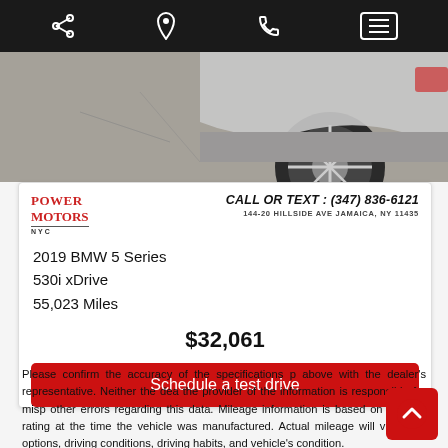Navigation bar with share, location, phone, and menu icons
[Figure (photo): Partial rear view of a BMW 5 Series showing wheel and rear quarter panel on asphalt]
CALL OR TEXT : (347) 836-6121
144-20 HILLSIDE AVE JAMAICA, NY 11435
2019 BMW 5 Series
530i xDrive
55,023 Miles
$32,061
Schedule a test drive
Please confirm the accuracy of the specifications provided above with the dealer's representative. Neither the dealer or the provider of the information is responsible for misprints or other errors regarding this data. Mileage information is based on an EPA rating at the time the vehicle was manufactured. Actual mileage will vary with options, driving conditions, driving habits, and vehicle's condition.